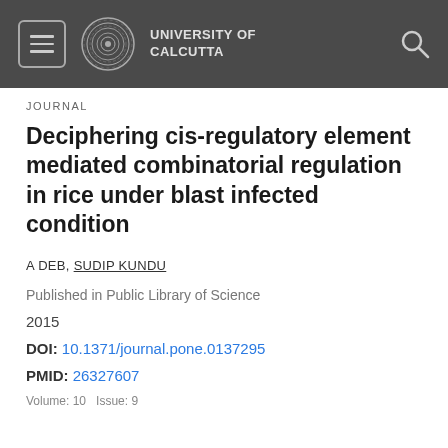[Figure (logo): University of Calcutta header bar with hamburger menu, circular logo, university name, and search icon on dark grey background]
JOURNAL
Deciphering cis-regulatory element mediated combinatorial regulation in rice under blast infected condition
A DEB, SUDIP KUNDU
Published in Public Library of Science
2015
DOI: 10.1371/journal.pone.0137295
PMID: 26327607
Volume: 10   Issue: 9